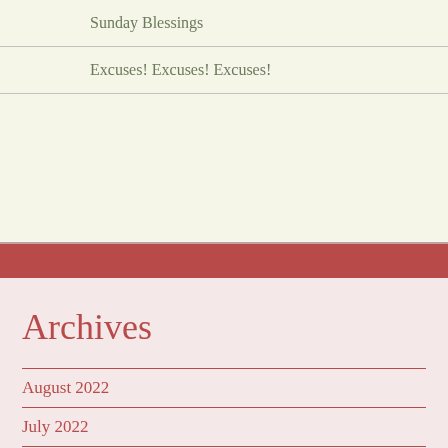Sunday Blessings
Excuses! Excuses! Excuses!
Archives
August 2022
July 2022
June 2022
May 2022
April 2022
March 2022